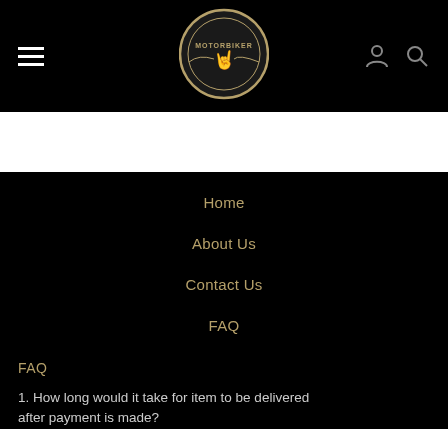[Figure (logo): Motorbiker circular logo badge with crown and wings on black header background]
Home
About Us
Contact Us
FAQ
FAQ
1.  How long would it take for item to be delivered after payment is made?